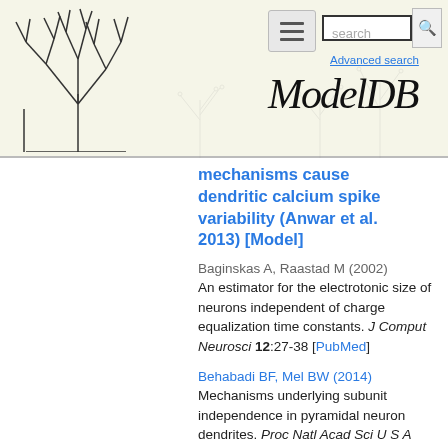ModelDB — Advanced search
mechanisms cause dendritic calcium spike variability (Anwar et al. 2013) [Model]
Baginskas A, Raastad M (2002) An estimator for the electrotonic size of neurons independent of charge equalization time constants. J Comput Neurosci 12:27-38 [PubMed]
Behabadi BF, Mel BW (2014) Mechanisms underlying subunit independence in pyramidal neuron dendrites. Proc Natl Acad Sci U S A 111:498-503 [Journal] [PubMed]
Mechanisms underlying